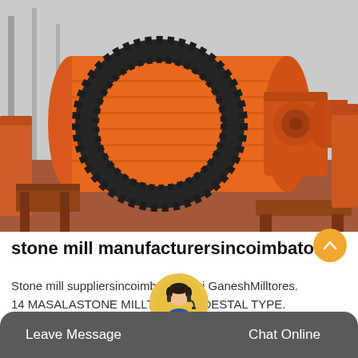[Figure (photo): Large orange industrial ball mill machine in a factory/warehouse setting. The machine is a horizontal cylindrical drum painted bright orange, with a large black gear ring around its body. Additional orange machinery components visible in the background on a red/brown factory floor.]
stone mill manufacturersincoimbatore
Stone mill suppliersincoimbatore| Sri GaneshMilltores. 14 MASALASTONE MILLTHIRD PEDESTAL TYPE. HORIZONTALSTONE MILL. view details....
Leave Message  Chat Online